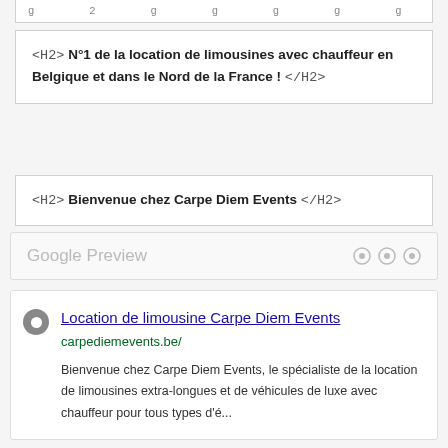<H2> N°1 de la location de limousines avec chauffeur en Belgique et dans le Nord de la France ! </H2>
<H2> Bienvenue chez Carpe Diem Events </H2>
Google Preview
Location de limousine Carpe Diem Events
carpediemevents.be/
Bienvenue chez Carpe Diem Events, le spécialiste de la location de limousines extra-longues et de véhicules de luxe avec chauffeur pour tous types d'é...